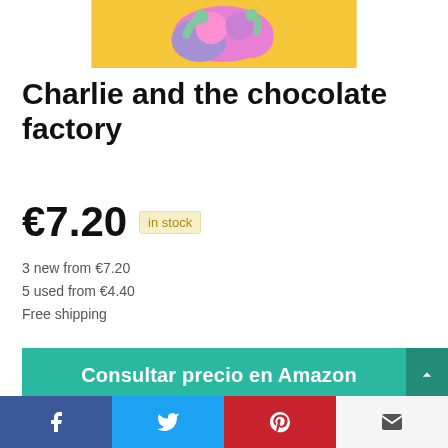[Figure (illustration): Top portion of a colorful illustrated book cover for Charlie and the Chocolate Factory with yellow/orange background and cartoon characters]
Charlie and the chocolate factory
€7.20  in stock
3 new from €7.20
5 used from €4.40
Free shipping
Consultar precio en Amazon
Amazon.es
as of febrero 9, 2021 7:24 pm
[Figure (screenshot): Social share bar with Facebook, Twitter, Pinterest, and email icons]